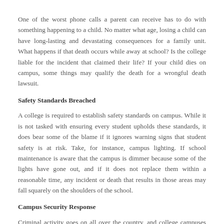One of the worst phone calls a parent can receive has to do with something happening to a child. No matter what age, losing a child can have long-lasting and devastating consequences for a family unit. What happens if that death occurs while away at school? Is the college liable for the incident that claimed their life? If your child dies on campus, some things may qualify the death for a wrongful death lawsuit.
Safety Standards Breached
A college is required to establish safety standards on campus. While it is not tasked with ensuring every student upholds these standards, it does bear some of the blame if it ignores warning signs that student safety is at risk. Take, for instance, campus lighting. If school maintenance is aware that the campus is dimmer because some of the lights have gone out, and if it does not replace them within a reasonable time, any incident or death that results in those areas may fall squarely on the shoulders of the school.
Campus Security Response
Criminal activity goes on all over the country, and college campuses are